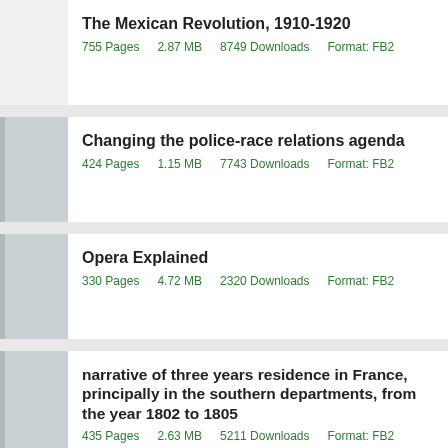The Mexican Revolution, 1910-1920
755 Pages    2.87 MB    8749 Downloads    Format: FB2
Changing the police-race relations agenda
424 Pages    1.15 MB    7743 Downloads    Format: FB2
Opera Explained
330 Pages    4.72 MB    2320 Downloads    Format: FB2
narrative of three years residence in France, principally in the southern departments, from the year 1802 to 1805
435 Pages    2.63 MB    5211 Downloads    Format: FB2